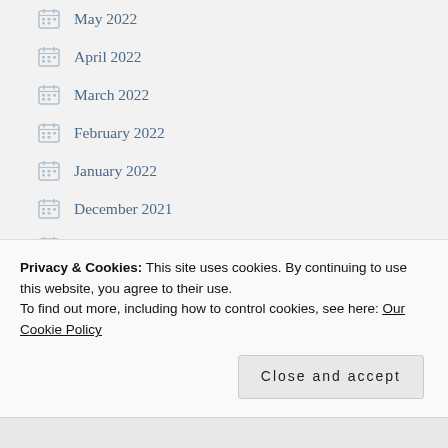May 2022
April 2022
March 2022
February 2022
January 2022
December 2021
November 2021
October 2021
September 2021
August 2021
Privacy & Cookies: This site uses cookies. By continuing to use this website, you agree to their use.
To find out more, including how to control cookies, see here: Our Cookie Policy
Close and accept